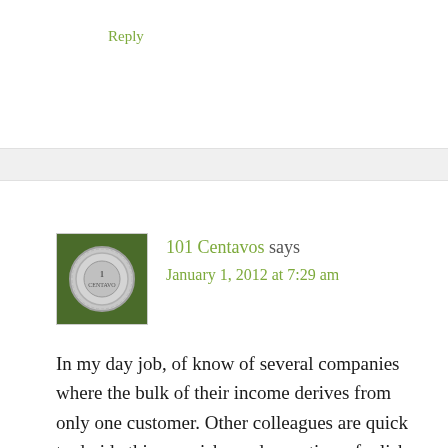Reply
101 Centavos says
January 1, 2012 at 7:29 am
[Figure (photo): Avatar image of a coin (101 Centavos profile picture) - a silver/white coin on a green/dark background]
In my day job, of know of several companies where the bulk of their income derives from only one customer. Other colleagues are quick to deride this as a risky and sometimes foolish strategy. I've had a little fun a few times by pointing out to the colleague that their income also derives from one customer. It's a mental switch to